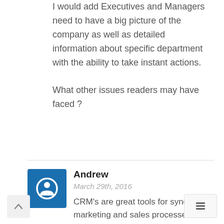Great article.
I would add Executives and Managers need to have a big picture of the company as well as detailed information about specific department with the ability to take instant actions.
What other issues readers may have faced ?
Andrew
March 29th, 2016
CRM's are great tools for syncing marketing and sales processes